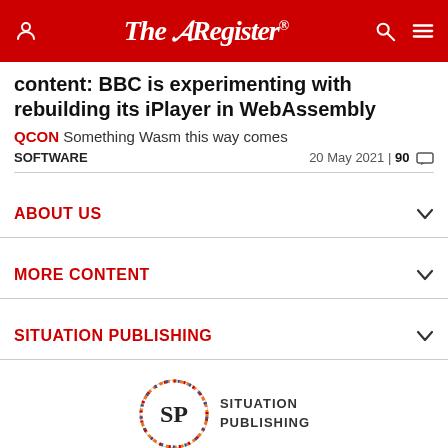The Register
content: BBC is experimenting with rebuilding its iPlayer in WebAssembly
QCON Something Wasm this way comes
SOFTWARE   20 May 2021 | 90
ABOUT US
MORE CONTENT
SITUATION PUBLISHING
[Figure (logo): Situation Publishing logo with SP initials in a circle]
The Register - Independent news and views for the tech community. Part of Situation Publishing